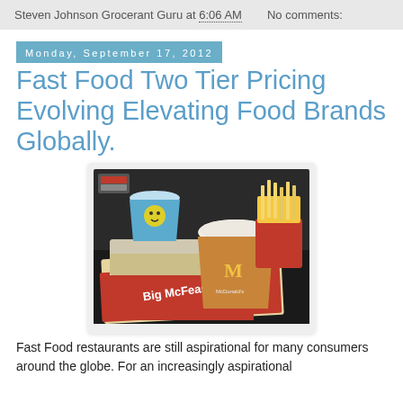Steven Johnson Grocerant Guru at 6:06 AM   No comments:
Monday, September 17, 2012
Fast Food Two Tier Pricing Evolving Elevating Food Brands Globally.
[Figure (photo): McDonald's Big McFeast meal on a tray with drink cup showing McDonald's golden arches logo, a smaller cup, fries container, and Big McFeast burger box]
Fast Food restaurants are still aspirational for many consumers around the globe. For an increasingly aspirational